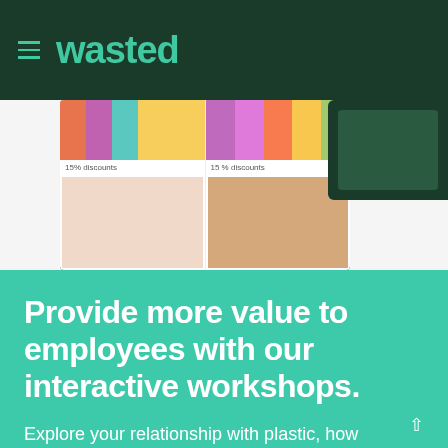wasted
[Figure (screenshot): Mobile app screenshot showing a shopping interface with colorful product images and '15% discounts' and '15 % discounts' labels, alongside a dark green phone mockup on the right side.]
Provide more value to employees with our interactive workshops.
Explore your relationship with plastic, how addicted we are to the convenience of plastic and how to